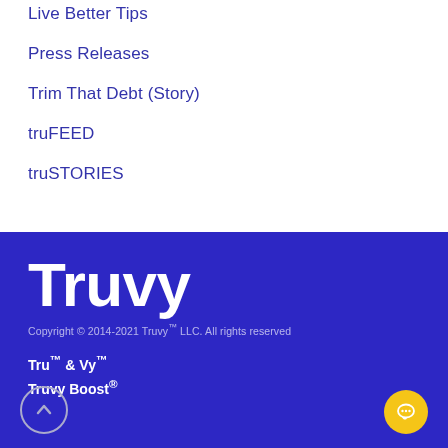Live Better Tips
Press Releases
Trim That Debt (Story)
truFEED
truSTORIES
[Figure (logo): Truvy logo in white on dark blue background]
Copyright © 2014-2021 Truvy™ LLC. All rights reserved
Tru™ & Vy™
Truvy Boost®